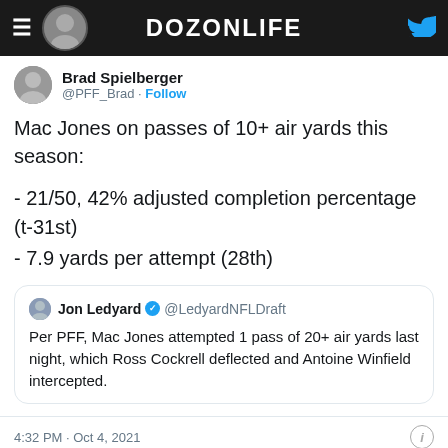DOZONLIFE
Brad Spielberger
@PFF_Brad · Follow
Mac Jones on passes of 10+ air yards this season:
- 21/50, 42% adjusted completion percentage (t-31st)
- 7.9 yards per attempt (28th)
Jon Ledyard @LedyardNFLDraft
Per PFF, Mac Jones attempted 1 pass of 20+ air yards last night, which Ross Cockrell deflected and Antoine Winfield intercepted.
4:32 PM · Oct 4, 2021
40  Reply  Copy link
Read 4 replies